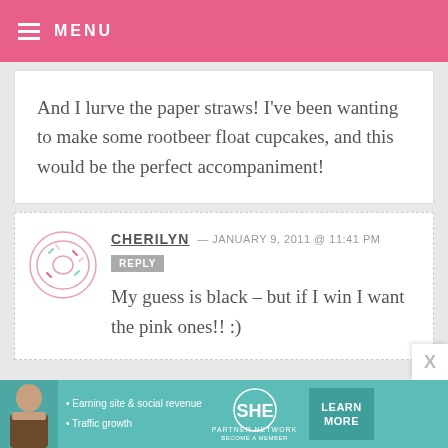MENU
And I lurve the paper straws! I've been wanting to make some rootbeer float cupcakes, and this would be the perfect accompaniment!
CHERILYN — JANUARY 9, 2011 @ 11:41 PM REPLY
My guess is black – but if I win I want the pink ones!! :)
[Figure (infographic): SHE Partner Network advertisement banner with woman photo, bullet points about earning site & social revenue and traffic growth, SHE logo, and LEARN MORE button]